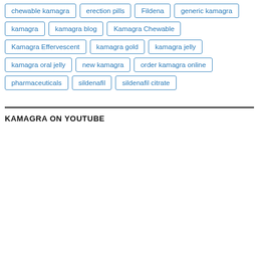chewable kamagra
erection pills
Fildena
generic kamagra
kamagra
kamagra blog
Kamagra Chewable
Kamagra Effervescent
kamagra gold
kamagra jelly
kamagra oral jelly
new kamagra
order kamagra online
pharmaceuticals
sildenafil
sildenafil citrate
KAMAGRA ON YOUTUBE